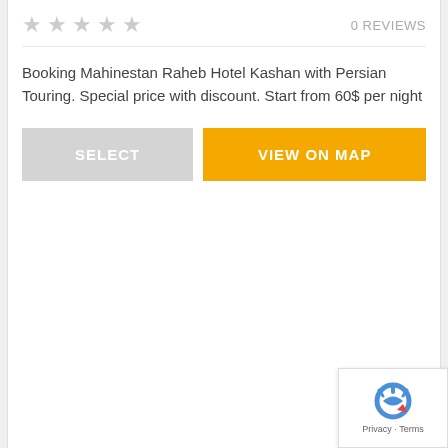[Figure (other): Five empty/outlined star rating icons in light gray]
0 REVIEWS
Booking Mahinestan Raheb Hotel Kashan with Persian Touring. Special price with discount. Start from 60$ per night
[Figure (other): SELECT button (gray) and VIEW ON MAP button (orange/yellow)]
[Figure (other): reCAPTCHA widget with arrow icon and Privacy - Terms text]